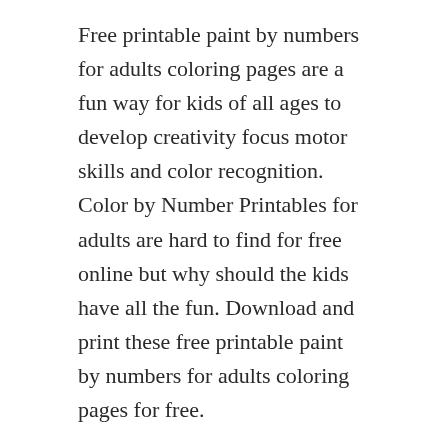Free printable paint by numbers for adults coloring pages are a fun way for kids of all ages to develop creativity focus motor skills and color recognition. Color by Number Printables for adults are hard to find for free online but why should the kids have all the fun. Download and print these free printable paint by numbers for adults coloring pages for free.
Trail of Colors. Color by Number For Adults is an amazing application for adults and kids color by number pictures. Trail of Colors has designed some beautiful free coloring pages for adults that include images of leaves flowers